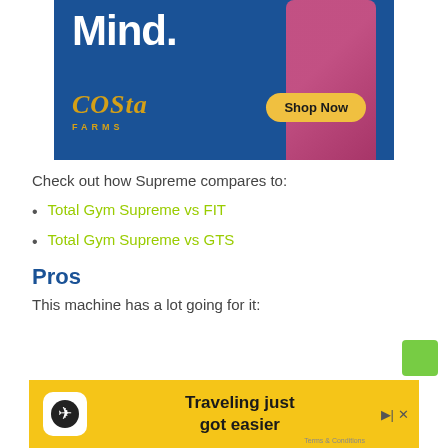[Figure (illustration): Costa Farms advertisement banner with blue background showing 'Mind.' text in white, Costa Farms yellow logo, a pink bag image, and a 'Shop Now' yellow button]
Check out how Supreme compares to:
Total Gym Supreme vs FIT
Total Gym Supreme vs GTS
Pros
This machine has a lot going for it:
[Figure (illustration): Advertisement banner with yellow background showing 'Traveling just got easier' text with an airplane icon and Terms & Conditions link]